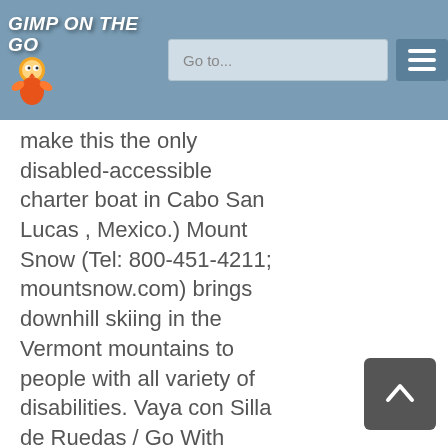Gimp on the Go — navigation header with logo and search bar
make this the only disabled-accessible charter boat in Cabo San Lucas , Mexico.) Mount Snow (Tel: 800-451-4211; mountsnow.com) brings downhill skiing in the Vermont mountains to people with all variety of disabilities. Vaya con Silla de Ruedas / Go With Wheelchairs (Tel: